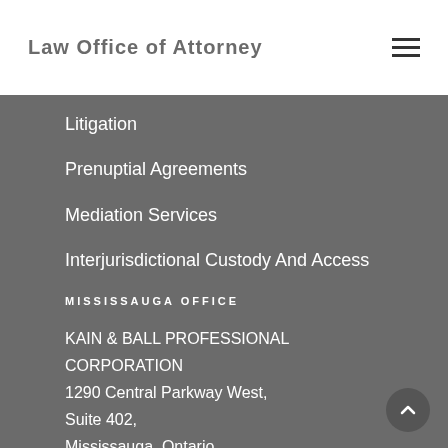Law Office of [Attorney]
Litigation
Prenuptial Agreements
Mediation Services
Interjurisdictional Custody And Access
MISSISSAUGA OFFICE
KAIN & BALL PROFESSIONAL CORPORATION
1290 Central Parkway West,
Suite 402,
Mississauga, Ontario